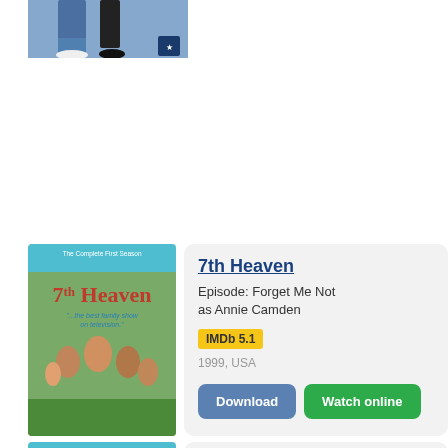[Figure (photo): Partial view of two people's legs and feet on a blue background, cropped at top]
[Figure (photo): 7th Heaven The Complete First Season DVD cover showing a family group photo]
7th Heaven
Episode: Forget Me Not
as Annie Camden
IMDb 5.1
1999, USA
Download
Watch online
[Figure (photo): 7th Heaven The Complete First Season DVD cover, partial view at bottom]